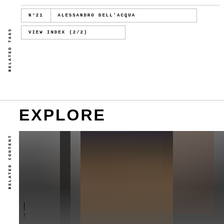RELATED TAGS
N°21   ALESSANDRO DELL'ACQUA
VIEW INDEX (2/2)
EXPLORE
RELATED CONTENT
[Figure (photo): Fashion runway photograph showing a female model with dark hair in an updo wearing an ornate patterned jacket with black sequin details, walking the runway with another model visible in the background. Dark industrial venue with atmospheric lighting.]